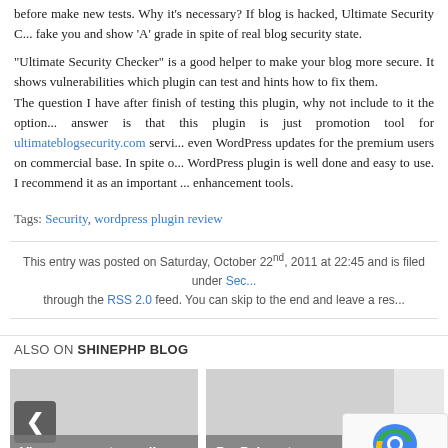before make new tests. Why it's necessary? If blog is hacked, Ultimate Security Checker can fake you and show 'A' grade in spite of real blog security state.
"Ultimate Security Checker" is a good helper to make your blog more secure. It shows vulnerabilities which plugin can test and hints how to fix them. The question I have after finish of testing this plugin, why not include to it the option ... answer is that this plugin is just promotion tool for ultimateblogsecurity.com service ... even WordPress updates for the premium users on commercial base. In spite of ... WordPress plugin is well done and easy to use. I recommend it as an important ... enhancement tools.
Tags: Security, wordpress plugin review
This entry was posted on Saturday, October 22nd, 2011 at 22:45 and is filed under Sec... through the RSS 2.0 feed. You can skip to the end and leave a res...
ALSO ON SHINEPHP BLOG
[Figure (screenshot): Card showing 'View own posts media WordPress Plugin']
[Figure (screenshot): Card showing 'PayPal customer feedback email']